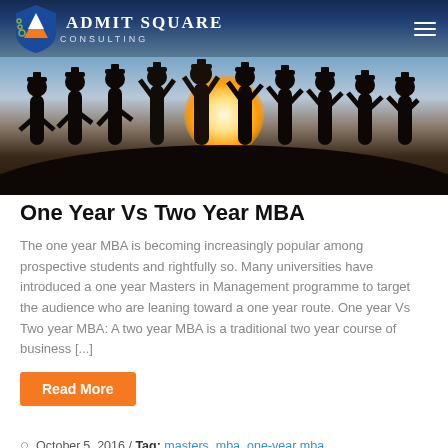[Figure (photo): Hero image of graduation silhouettes against a sunset, with Admit Square Consulting logo and navigation bar overlay at the top.]
One Year Vs Two Year MBA
The one year MBA is becoming increasingly popular among prospective students and rightfully so. Many universities have introduced a one year Masters in Management programme to target the audience who are leaning toward a one year route. One year Vs Two year MBA: A two year MBA is a traditional two year course of business [...]
Read More
October,5, 2016 / Tag: masters, mba, one-year mba, two-year mba